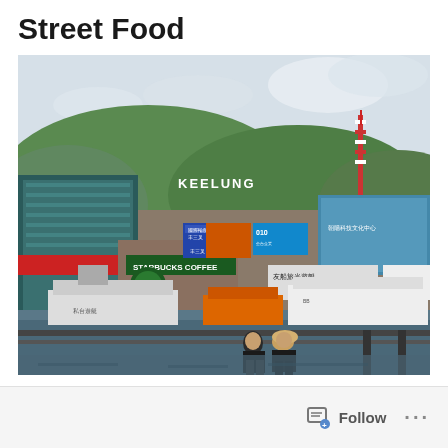Street Food
[Figure (photo): Keelung harbor cityscape with Starbucks Coffee sign, various Chinese-language billboards, boats docked at the waterfront, two people sitting on a railing in the foreground, and 'KEELUNG' written in large letters on the hillside. A red-and-white telecommunications tower is visible on the right hilltop.]
Follow ...